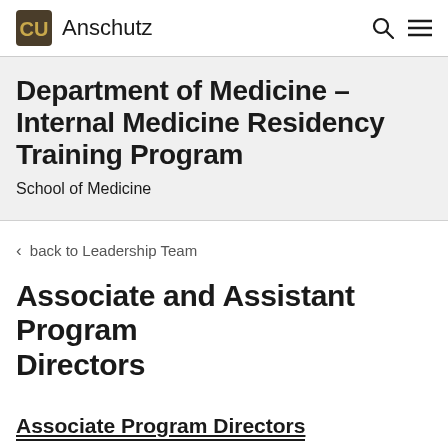CU Anschutz
Department of Medicine – Internal Medicine Residency Training Program
School of Medicine
< back to Leadership Team
Associate and Assistant Program Directors
Associate Program Directors